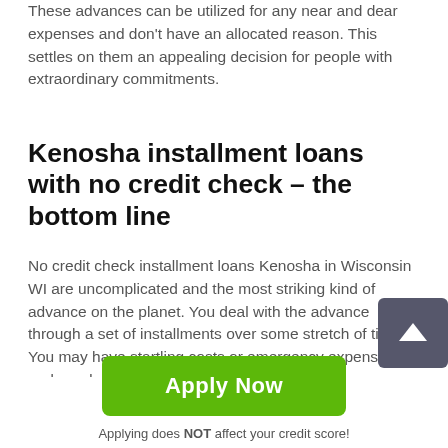These advances can be utilized for any near and dear expenses and don't have an allocated reason. This settles on them an appealing decision for people with extraordinary commitments.
Kenosha installment loans with no credit check – the bottom line
No credit check installment loans Kenosha in Wisconsin WI are uncomplicated and the most striking kind of advance on the planet. You deal with the advance through a set of installments over some stretch of time. You may have startling costs or emergency expenses and need money for installment loans...
[Figure (other): Green 'Apply Now' button]
Applying does NOT affect your credit score!
No credit check to apply.